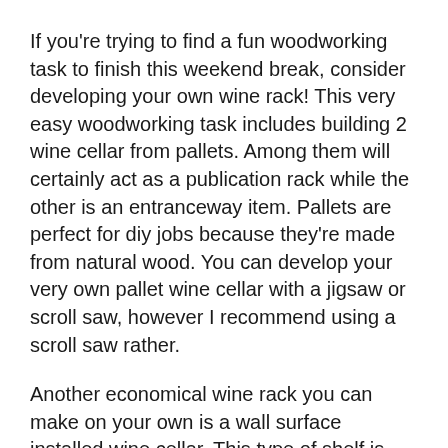If you're trying to find a fun woodworking task to finish this weekend break, consider developing your own wine rack! This very easy woodworking task includes building 2 wine cellar from pallets. Among them will certainly act as a publication rack while the other is an entranceway item. Pallets are perfect for diy jobs because they're made from natural wood. You can develop your very own pallet wine cellar with a jigsaw or scroll saw, however I recommend using a scroll saw rather.
Another economical wine rack you can make on your own is a wall surface installed wine cellar. This type of shelf is easy to make and can be placed on the wall. You'll need a